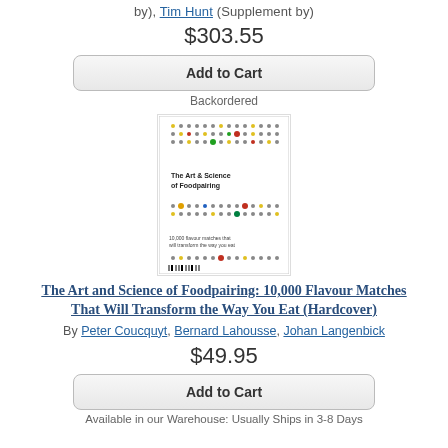by), Tim Hunt (Supplement by)
$303.55
Add to Cart
Backordered
[Figure (photo): Book cover: The Art & Science of Foodpairing, with colorful dot matrix pattern]
The Art and Science of Foodpairing: 10,000 Flavour Matches That Will Transform the Way You Eat (Hardcover)
By Peter Coucquyt, Bernard Lahousse, Johan Langenbick
$49.95
Add to Cart
Available in our Warehouse: Usually Ships in 3-8 Days